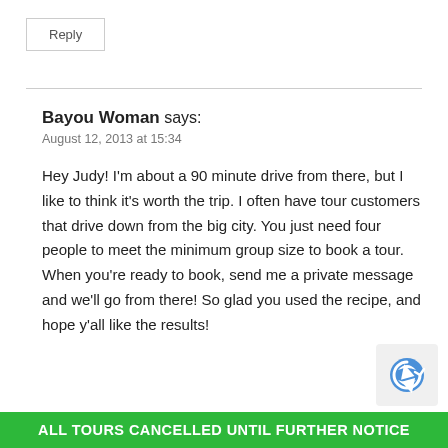Reply
Bayou Woman says:
August 12, 2013 at 15:34
Hey Judy! I'm about a 90 minute drive from there, but I like to think it's worth the trip. I often have tour customers that drive down from the big city. You just need four people to meet the minimum group size to book a tour. When you're ready to book, send me a private message and we'll go from there! So glad you used the recipe, and hope y'all like the results!
ALL TOURS CANCELLED UNTIL FURTHER NOTICE